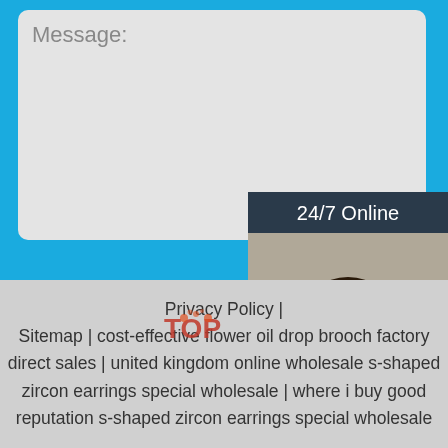Message:
[Figure (screenshot): Blue web contact form area with message textarea, Submit Now orange button, and a 24/7 Online chat widget with a woman wearing headset, 'Click here for free chat!' text, and an orange QUOTATION button]
Privacy Policy | Sitemap | cost-effective flower oil drop brooch factory direct sales | united kingdom online wholesale s-shaped zircon earrings special wholesale | where i buy good reputation s-shaped zircon earrings special wholesale